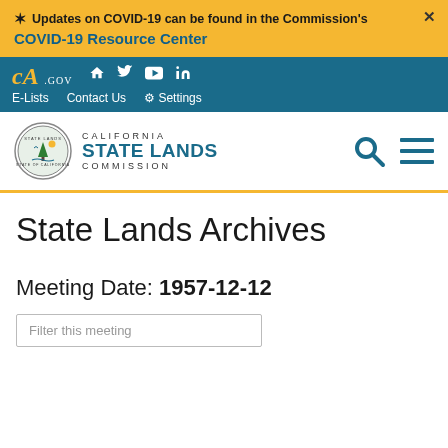Updates on COVID-19 can be found in the Commission's COVID-19 Resource Center
CA.GOV E-Lists Contact Us Settings
[Figure (logo): California State Lands Commission seal and logo with search and menu icons]
State Lands Archives
Meeting Date: 1957-12-12
Filter this meeting